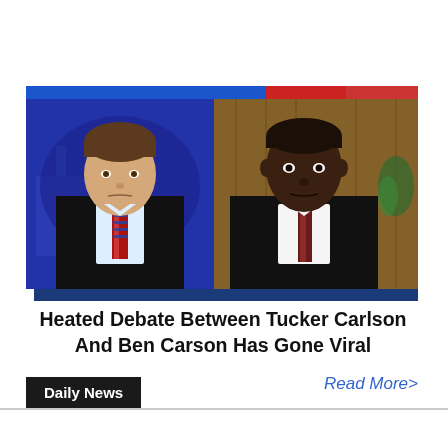[Figure (screenshot): TV screenshot showing two men side by side: Tucker Carlson on the left against a blue background, and Ben Carson on the right against a wood-paneled background. Both are wearing dark suits with ties.]
Heated Debate Between Tucker Carlson And Ben Carson Has Gone Viral
Read More>
Daily News